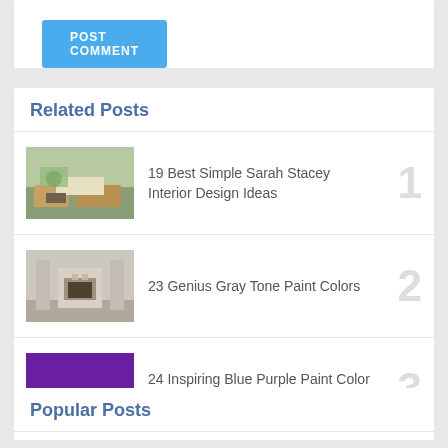[Figure (screenshot): POST COMMENT button — blue rounded rectangle with white uppercase text]
Related Posts
19 Best Simple Sarah Stacey Interior Design Ideas
23 Genius Gray Tone Paint Colors
24 Inspiring Blue Purple Paint Color Photo
Popular Posts